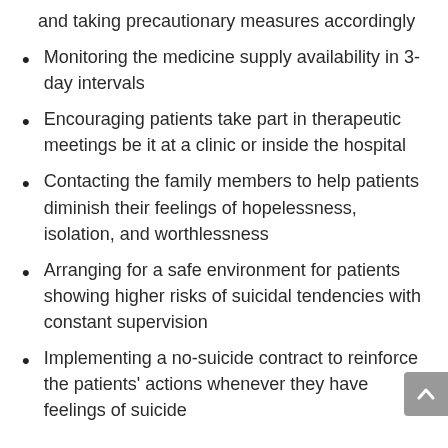and taking precautionary measures accordingly
Monitoring the medicine supply availability in 3-day intervals
Encouraging patients take part in therapeutic meetings be it at a clinic or inside the hospital
Contacting the family members to help patients diminish their feelings of hopelessness, isolation, and worthlessness
Arranging for a safe environment for patients showing higher risks of suicidal tendencies with constant supervision
Implementing a no-suicide contract to reinforce the patients' actions whenever they have feelings of suicide